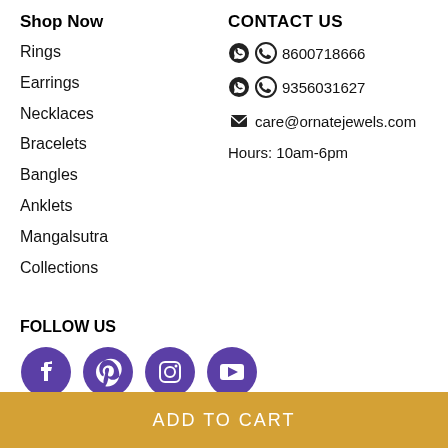Shop Now
Rings
Earrings
Necklaces
Bracelets
Bangles
Anklets
Mangalsutra
Collections
CONTACT US
8600718666
9356031627
care@ornatejewels.com
Hours: 10am-6pm
FOLLOW US
[Figure (other): Social media icons: Facebook, Pinterest, Instagram, YouTube - all in purple circles]
ADD TO CART